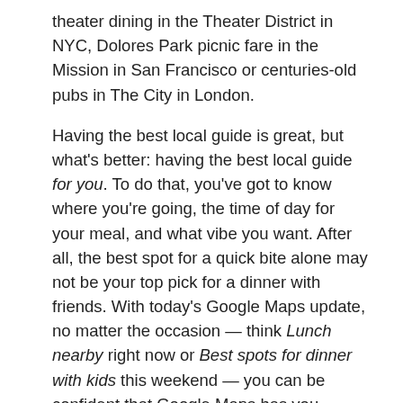theater dining in the Theater District in NYC, Dolores Park picnic fare in the Mission in San Francisco or centuries-old pubs in The City in London.
Having the best local guide is great, but what's better: having the best local guide for you. To do that, you've got to know where you're going, the time of day for your meal, and what vibe you want. After all, the best spot for a quick bite alone may not be your top pick for a dinner with friends. With today's Google Maps update, no matter the occasion — think Lunch nearby right now or Best spots for dinner with kids this weekend — you can be confident that Google Maps has you covered.
[Figure (screenshot): Screenshot_2015-08-26-21-49-35.png]
[Figure (screenshot): Screenshot_2015-09-02-07-54-25.png]
Once you pick the category that suits your craving, you can see in-depth details about each location. Swipe through photos, get details (family-friendly? quick bite?), and check out ratings and reviews from Google and other diners. And for select spots, you also discover why it may be particularly relevant to you; for example,